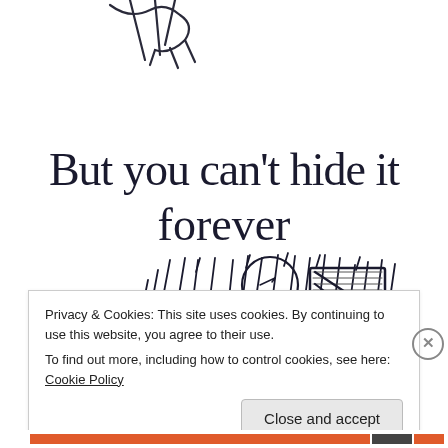[Figure (illustration): Hand-drawn sketch illustration showing two parts: top portion shows stick figures (one standing, one sitting on bench), and a large hand-lettered text reading 'But you can't hide it forever'. Below the text is a stick figure person sitting at a desk with a computer monitor, surrounded by diagonal rain-like lines suggesting stress or intensity.]
Privacy & Cookies: This site uses cookies. By continuing to use this website, you agree to their use.
To find out more, including how to control cookies, see here: Cookie Policy